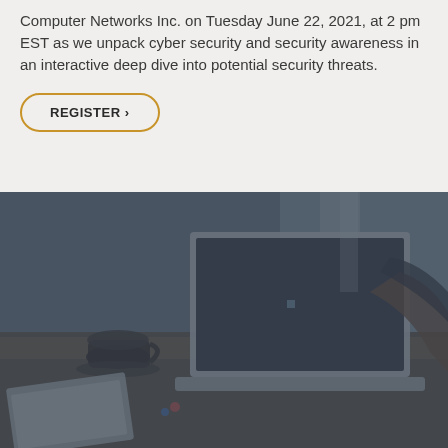Computer Networks Inc. on Tuesday June 22, 2021, at 2 pm EST as we unpack cyber security and security awareness in an interactive deep dive into potential security threats.
REGISTER ›
[Figure (photo): A dark-toned photo of a person working on a Microsoft Surface laptop on a wooden desk, with a coffee cup and notepad visible, slight blue-gray overlay.]